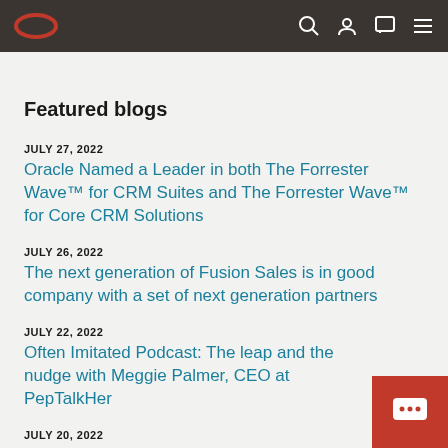Oracle navigation bar with logo and icons
Featured blogs
JULY 27, 2022
Oracle Named a Leader in both The Forrester Wave™ for CRM Suites and The Forrester Wave™ for Core CRM Solutions
JULY 26, 2022
The next generation of Fusion Sales is in good company with a set of next generation partners
JULY 22, 2022
Often Imitated Podcast: The leap and the nudge with Meggie Palmer, CEO at PepTalkHer
JULY 20, 2022